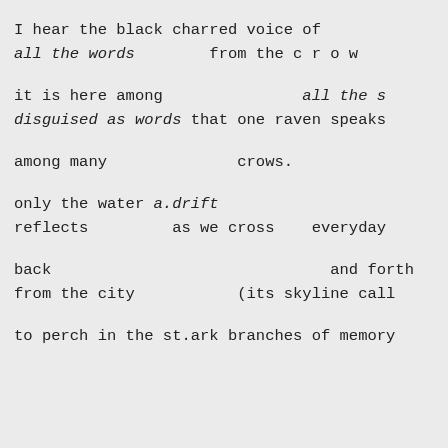I hear the black charred voice of
all the words        from the c r o w
it is here among               all the s
disguised as words that one raven speaks
among many              crows.
only the water a.drift
reflects         as we cross    everyday
back                              and forth
from the city           (its skyline call
to perch in the st.ark branches of memory